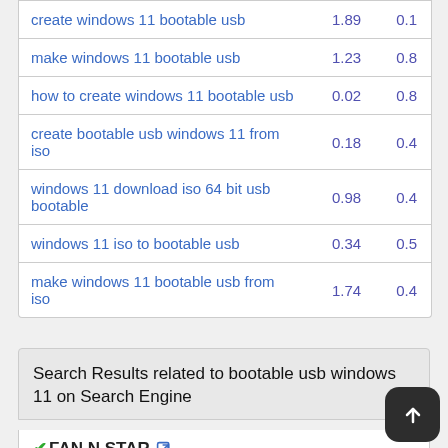| keyword | col1 | col2 |
| --- | --- | --- |
| create windows 11 bootable usb | 1.89 | 0.1 |
| make windows 11 bootable usb | 1.23 | 0.8 |
| how to create windows 11 bootable usb | 0.02 | 0.8 |
| create bootable usb windows 11 from iso | 0.18 | 0.4 |
| windows 11 download iso 64 bit usb bootable | 0.98 | 0.4 |
| windows 11 iso to bootable usb | 0.34 | 0.5 |
| make windows 11 bootable usb from iso | 1.74 | 0.4 |
Search Results related to bootable usb windows 11 on Search Engine
[Figure (screenshot): FAN N STAR brand entry with checkmark, external link icon, and tf.co.kr URL]